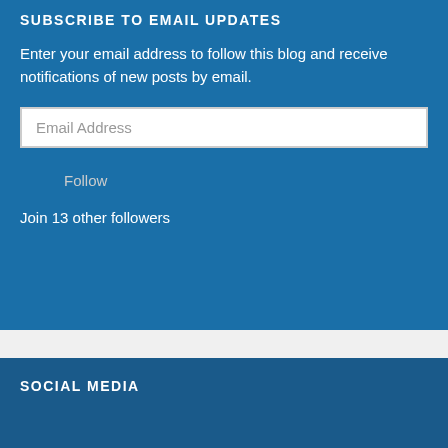SUBSCRIBE TO EMAIL UPDATES
Enter your email address to follow this blog and receive notifications of new posts by email.
Email Address
Follow
Join 13 other followers
SOCIAL MEDIA